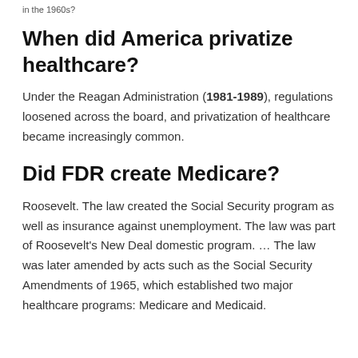in the 1960s?
When did America privatize healthcare?
Under the Reagan Administration (1981-1989), regulations loosened across the board, and privatization of healthcare became increasingly common.
Did FDR create Medicare?
Roosevelt. The law created the Social Security program as well as insurance against unemployment. The law was part of Roosevelt's New Deal domestic program. … The law was later amended by acts such as the Social Security Amendments of 1965, which established two major healthcare programs: Medicare and Medicaid.